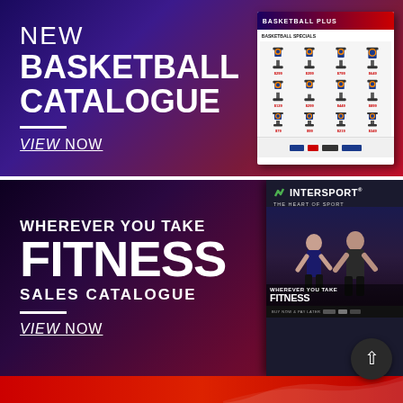[Figure (infographic): Promotional banner for a new Basketball Catalogue on a purple-to-red gradient background. Left side shows large white text 'NEW BASKETBALL CATALOGUE' with a VIEW NOW underlined link. Right side shows a thumbnail image of the basketball catalogue with product listings and partner logos.]
[Figure (infographic): Promotional banner for an Intersport Fitness Sales Catalogue on a dark maroon/purple gradient background. Left side shows 'WHEREVER YOU TAKE FITNESS' in bold white text with 'SALES CATALOGUE' subtitle and VIEW NOW link. Right side shows an Intersport catalogue cover with athletes and 'WHEREVER YOU TAKE FITNESS' text overlay.]
[Figure (infographic): Partial red banner visible at the bottom of the page, part of a third promotional section.]